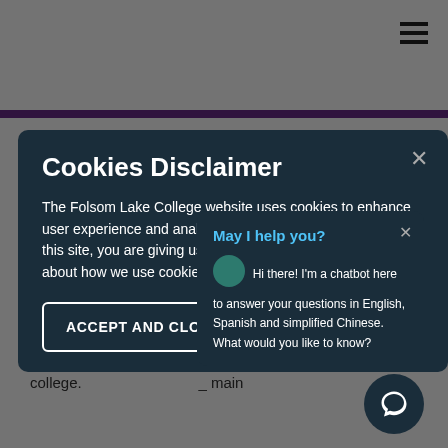For more information, please contact Admissions & Records at the following campus locations:
Main Folsom campus: (916) 608-6501
El Dorado Center: (530) 642-5644
Cookies Disclaimer
The Folsom Lake College website uses cookies to enhance user experience and analyze site usage. By continuing to use this site, you are giving us consent to do this. Learn more about how we use cookies by reviewing our Privacy Policy.
ACCEPT AND CLOSE
[Figure (other): Chatbot popup with message: May I help you? Hi there! I'm a chatbot here to answer your questions in English, Spanish and simplified Chinese. What would you like to know?]
[Figure (other): Chatbot bubble icon button in bottom right corner]